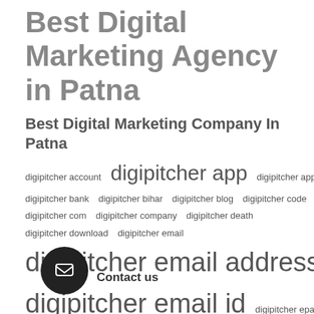Best Digital Marketing Agency in Patna
Best Digital Marketing Company In Patna
digipitcher account  digipitcher app  digipitcher app download  digipitcher bank  digipitcher bihar  digipitcher blog  digipitcher code  digipitcher com  digipitcher company  digipitcher death  digipitcher download  digipitcher email  digipitcher email address  digipitcher email id  digipitcher epaper  digipitcher facebook  digipitcher font  digipitcher form  digipitcher full form  digipitcher glassdoor  digipitcher gold  digipitcher help  digipitcher in  digipitcher india  digipitcher india pvt ltd  digipitcher instagram  digipitcher job  digipitcher login  digipitcher mail  digipitcher mail login  digipitcher net  digipitcher news  digipitcher offer  digipitcher online  digipitcher payment